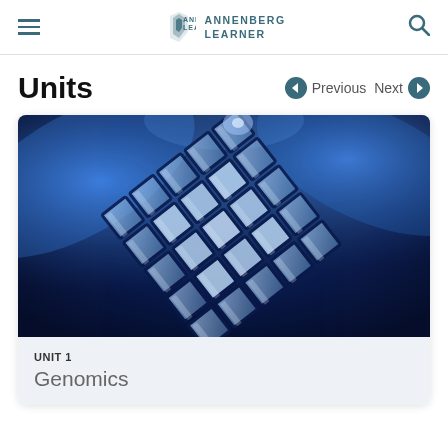Annenberg Learner
Units
Previous  Next
[Figure (photo): Close-up photograph of a DNA microarray chip showing a grid of blue-lit sample wells on a dark background, illuminated in blue light.]
UNIT 1
Genomics